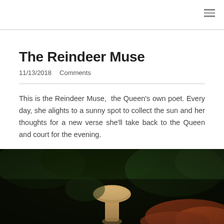The Reindeer Muse
11/13/2018   Comments
This is the Reindeer Muse,  the Queen's own poet. Every day, she alights to a sunny spot to collect the sun and her thoughts for a new verse she'll take back to the Queen and court for the evening.
[Figure (photo): A close-up photograph of what appears to be a mushroom or toadstool in a dark, outdoor setting with blurred foliage and leaves in the background. The scene is mostly dark with orange-red autumn leaves visible at the bottom right.]